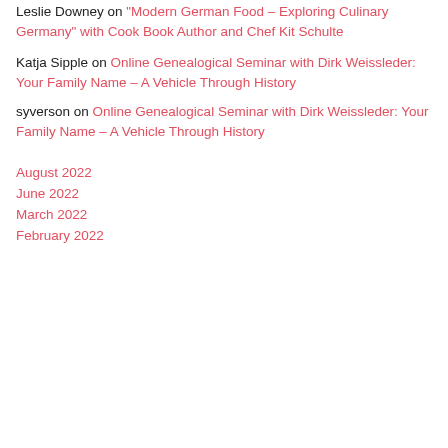Leslie Downey on “Modern German Food – Exploring Culinary Germany” with Cook Book Author and Chef Kit Schulte
Katja Sipple on Online Genealogical Seminar with Dirk Weissleder: Your Family Name – A Vehicle Through History
syverson on Online Genealogical Seminar with Dirk Weissleder: Your Family Name – A Vehicle Through History
August 2022
June 2022
March 2022
February 2022